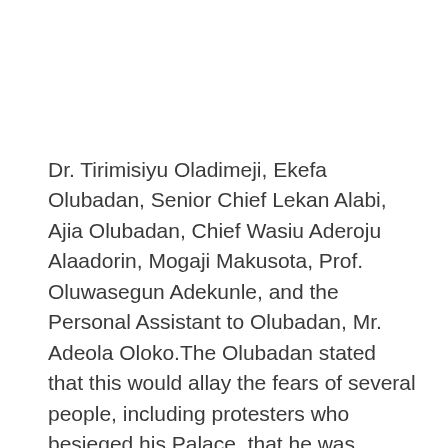Dr. Tirimisiyu Oladimeji, Ekefa Olubadan, Senior Chief Lekan Alabi, Ajia Olubadan, Chief Wasiu Aderoju Alaadorin, Mogaji Makusota, Prof. Oluwasegun Adekunle, and the Personal Assistant to Olubadan, Mr. Adeola Oloko.The Olubadan stated that this would allay the fears of several people, including protesters who besieged his Palace, that he was folding his arms over the travails of Sunday Igboho and his co-travellers.
His words: “Sunday Igboho lives in Ibadan, got married in Ibadan, reared children in Ibadan, built houses in Ibadan, and as such, he has the right to be protected by Ibadan